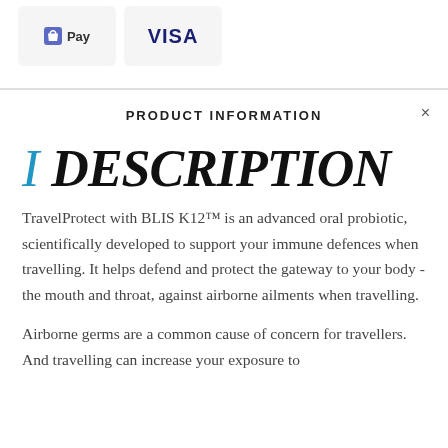[Figure (logo): Shopify Pay payment badge]
[Figure (logo): VISA payment badge]
PRODUCT INFORMATION
I  DESCRIPTION
TravelProtect with BLIS K12™ is an advanced oral probiotic, scientifically developed to support your immune defences when travelling. It helps defend and protect the gateway to your body - the mouth and throat, against airborne ailments when travelling.
Airborne germs are a common cause of concern for travellers. And travelling can increase your exposure to